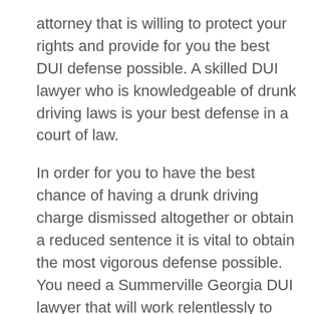attorney that is willing to protect your rights and provide for you the best DUI defense possible. A skilled DUI lawyer who is knowledgeable of drunk driving laws is your best defense in a court of law.
In order for you to have the best chance of having a drunk driving charge dismissed altogether or obtain a reduced sentence it is vital to obtain the most vigorous defense possible. You need a Summerville Georgia DUI lawyer that will work relentlessly to challenge the evidence that is brought forth by the Chattooga County prosecutors office.